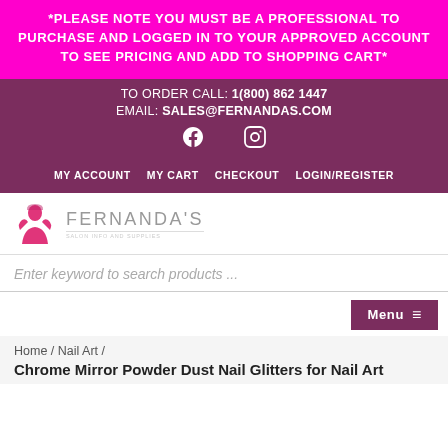*PLEASE NOTE YOU MUST BE A PROFESSIONAL TO PURCHASE AND LOGGED IN TO YOUR APPROVED ACCOUNT TO SEE PRICING AND ADD TO SHOPPING CART*
TO ORDER CALL: 1(800) 862 1447
EMAIL: SALES@FERNANDAS.COM
[Figure (logo): Facebook and Instagram social media icons in white]
MY ACCOUNT   MY CART   CHECKOUT   LOGIN/REGISTER
[Figure (logo): Fernanda's salon supply logo with pink woman silhouette and brand name text]
Enter keyword to search products ...
Menu ≡
Home / Nail Art /
Chrome Mirror Powder Dust Nail Glitters for Nail Art